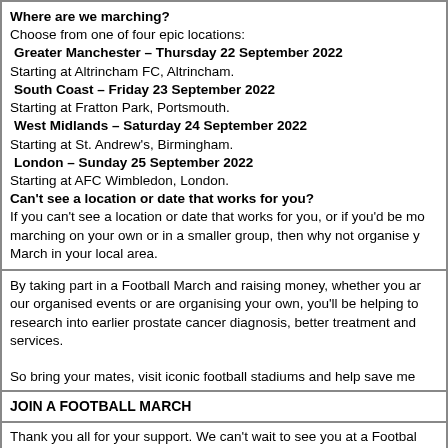Where are we marching?
Choose from one of four epic locations:
Greater Manchester – Thursday 22 September 2022
Starting at Altrincham FC, Altrincham.
South Coast – Friday 23 September 2022
Starting at Fratton Park, Portsmouth.
West Midlands – Saturday 24 September 2022
Starting at St. Andrew's, Birmingham.
London – Sunday 25 September 2022
Starting at AFC Wimbledon, London.
Can't see a location or date that works for you?
If you can't see a location or date that works for you, or if you'd be more comfortable marching on your own or in a smaller group, then why not organise your own Football March in your local area.
By taking part in a Football March and raising money, whether you are joining one of our organised events or are organising your own, you'll be helping to fund vital research into earlier prostate cancer diagnosis, better treatment and better support services.

So bring your mates, visit iconic football stadiums and help save men's lives.
JOIN A FOOTBALL MARCH
Thank you all for your support. We can't wait to see you at a Football March this September. If you have any questions, please email us or call on 020

Rosie & Matt
Football March Team